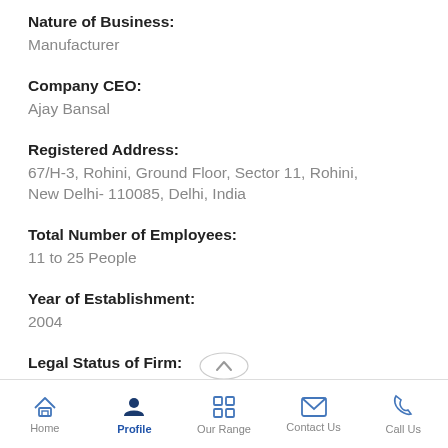Nature of Business:
Manufacturer
Company CEO:
Ajay Bansal
Registered Address:
67/H-3, Rohini, Ground Floor, Sector 11, Rohini, New Delhi- 110085, Delhi, India
Total Number of Employees:
11 to 25 People
Year of Establishment:
2004
Legal Status of Firm:
Individual - Proprietor
Annual Turnover:
Home  Profile  Our Range  Contact Us  Call Us